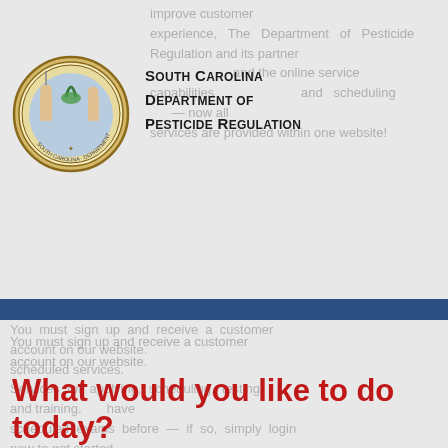[Figure (logo): South Carolina state seal/logo, circular emblem with figures and decorative border]
South Carolina Department of Pesticide Regulation
improve customer experience, The Department of Pesticide Regulation and its partner and the online service and scheduling — now all services are provided within one website!
You must sign up and receive a customer account on our website. Services for applying, scheduling, testing, and training. have scheduled exams before — if so, simply login now to get started. please sign up to receive your new customer account.
What would you like to do today?
New Customers
Existing
New to our website?
You must have a Metro customer account to use our website. Registering is simple and easy!
No
If you DPR new test the
Log In